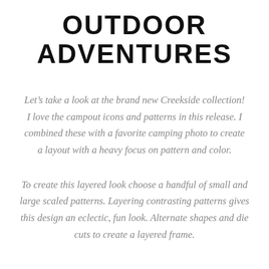OUTDOOR ADVENTURES
Let’s take a look at the brand new Creekside collection! I love the campout icons and patterns in this release. I combined these with a favorite camping photo to create a layout with a heavy focus on pattern and color.
To create this layered look choose a handful of small and large scaled patterns. Layering contrasting patterns gives this design an eclectic, fun look. Alternate shapes and die cuts to create a layered frame.